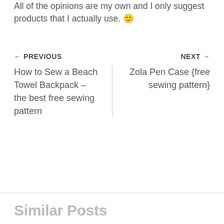All of the opinions are my own and I only suggest products that I actually use. 🙂
← PREVIOUS
NEXT →
How to Sew a Beach Towel Backpack – the best free sewing pattern
Zola Pen Case {free sewing pattern}
Similar Posts